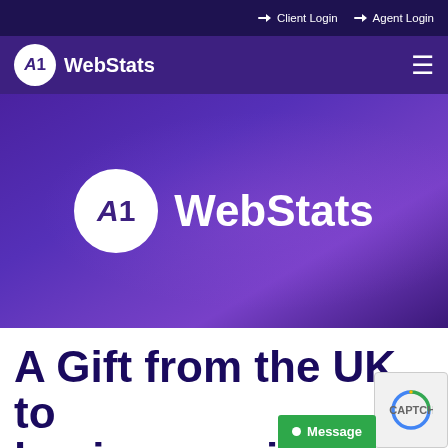➜ Client Login ➜ Agent Login
[Figure (logo): A1 WebStats navigation bar with logo and hamburger menu icon on purple background]
[Figure (logo): A1 WebStats hero banner with large logo on purple gradient background]
A Gift from the UK to businesses in the U...